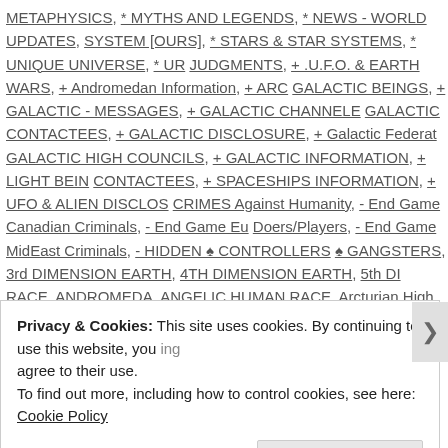METAPHYSICS, * MYTHS AND LEGENDS, * NEWS - WORLD UPDATES, SYSTEM [OURS], * STARS & STAR SYSTEMS, * UNIQUE UNIVERSE, * UR JUDGMENTS, + .U.F.O. & EARTH WARS, + Andromedan Information, + ARC GALACTIC BEINGS, + GALACTIC - MESSAGES, + GALACTIC CHANNELE GALACTIC CONTACTEES, + GALACTIC DISCLOSURE, + Galactic Federat GALACTIC HIGH COUNCILS, + GALACTIC INFORMATION, + LIGHT BEIN CONTACTEES, + SPACESHIPS INFORMATION, + UFO & ALIEN DISCLOS CRIMES Against Humanity, - End Game Canadian Criminals, - End Game Eu Doers/Players, - End Game MidEast Criminals, - HIDDEN ♠ CONTROLLERS ♠ GANGSTERS, 3rd DIMENSION EARTH, 4TH DIMENSION EARTH, 5th DI RACE, ANDROMEDA, ANGELIC HUMAN RACE, Arcturian High Council, AS FREQUENCIES, ASCENSION - HUMAN, Benevolent Earth Alliance, BIBLE - PROPORTIONS, CONTROL[LING] ISSUES, Creator/Galactic History, Death Cult SACRIFICES, Demon/Reptilian Shapeshifting, DRACONIAN evil CLONE PROPHETS $, FREE MOVIES & INFO, GALACTIC HISTORY, GALACTIC H GALACTIC TECHNOLOGY, HEAVEN'S BIRTH CANAL, Hidden Evil Invader Capensis Conehead, HUMAN RIGHTS INFO, IMMEDIATE ATTENTION, INT ENFORCEMENT, LAWSUITS - CHARGED, LIGHT - WARRIORS, LIGHT - W
Privacy & Cookies: This site uses cookies. By continuing to use this website, you agree to their use.
To find out more, including how to control cookies, see here: Cookie Policy